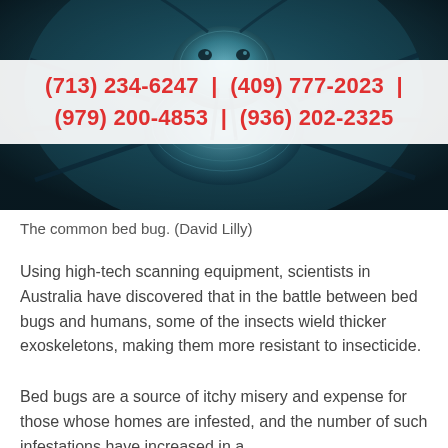[Figure (photo): Close-up macro photograph of a common bed bug (Cimex lectularius) showing detailed exoskeleton structure against a teal/dark background, scanning electron microscope style image.]
(713) 234-6247  |  (409) 777-2023  |  (979) 200-4853  |  (936) 202-2325
The common bed bug. (David Lilly)
Using high-tech scanning equipment, scientists in Australia have discovered that in the battle between bed bugs and humans, some of the insects wield thicker exoskeletons, making them more resistant to insecticide.
Bed bugs are a source of itchy misery and expense for those whose homes are infested, and the number of such infestations have increased in a